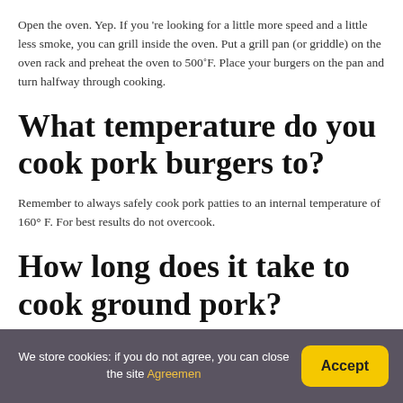Open the oven. Yep. If you 're looking for a little more speed and a little less smoke, you can grill inside the oven. Put a grill pan (or griddle) on the oven rack and preheat the oven to 500˚F. Place your burgers on the pan and turn halfway through cooking.
What temperature do you cook pork burgers to?
Remember to always safely cook pork patties to an internal temperature of 160° F. For best results do not overcook.
How long does it take to cook ground pork?
We store cookies: if you do not agree, you can close the site Agreemen